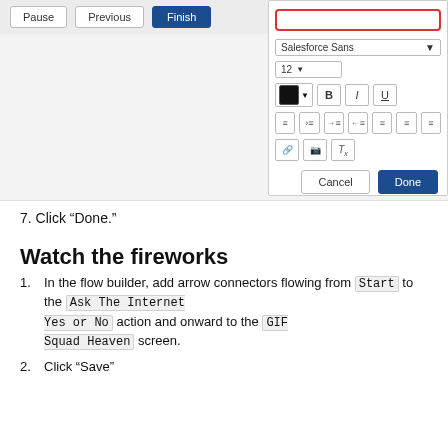[Figure (screenshot): Screenshot of a UI editor showing Pause, Previous, Finish buttons at top, a right panel with Salesforce Sans font dropdown, size 12, bold/italic/underline buttons, alignment buttons, and Cancel/Done buttons at the bottom right.]
7. Click “Done.”
Watch the fireworks
1. In the flow builder, add arrow connectors flowing from Start to the Ask The Internet Yes or No action and onward to the GIF Squad Heaven screen.
2. Click “Save”